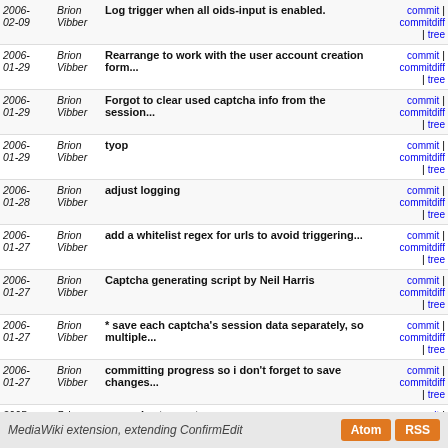| Date | Author | Message | Links |
| --- | --- | --- | --- |
| 2006-02-09 | Brion Vibber | Log trigger when all oids-input is enabled. | commit | commitdiff | tree |
| 2006-01-29 | Brion Vibber | Rearrange to work with the user account creation form... | commit | commitdiff | tree |
| 2006-01-29 | Brion Vibber | Forgot to clear used captcha info from the session... | commit | commitdiff | tree |
| 2006-01-29 | Brion Vibber | tyop | commit | commitdiff | tree |
| 2006-01-28 | Brion Vibber | adjust logging | commit | commitdiff | tree |
| 2006-01-27 | Brion Vibber | add a whitelist regex for urls to avoid triggering... | commit | commitdiff | tree |
| 2006-01-27 | Brion Vibber | Captcha generating script by Neil Harris | commit | commitdiff | tree |
| 2006-01-27 | Brion Vibber | * save each captcha's session data separately, so multiple... | commit | commitdiff | tree |
| 2006-01-27 | Brion Vibber | committing progress so i don't forget to save changes... | commit | commitdiff | tree |
| 2005-12-29 | Brion Vibber | more short open tags | commit | commitdiff | tree |
| 2005-10-14 | Brion Vibber | Further testing, integrating images generated from... | commit | commitdiff | tree |
| 2005-09-30 | Brion Vibber | Prelim proof-of-concept testing captcha extension framework. | commit | commitdiff | tree |
MediaWiki extension, extending ConfirmEdit